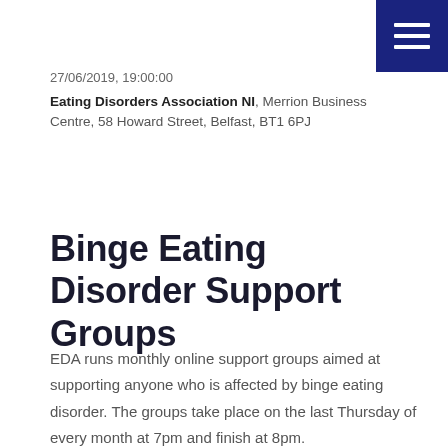[Figure (other): Dark navy blue hamburger menu button in top-right corner with three white horizontal lines]
27/06/2019, 19:00:00
Eating Disorders Association NI, Merrion Business Centre, 58 Howard Street, Belfast, BT1 6PJ
Binge Eating Disorder Support Groups
EDA runs monthly online support groups aimed at supporting anyone who is affected by binge eating disorder. The groups take place on the last Thursday of every month at 7pm and finish at 8pm.